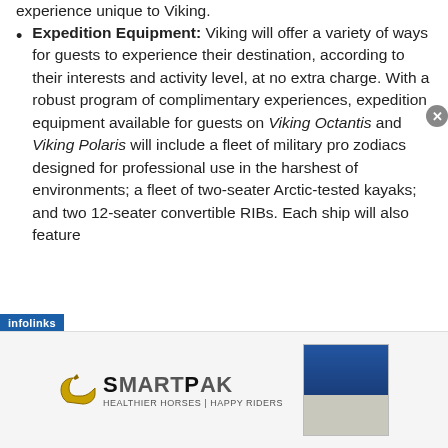experience unique to Viking.
Expedition Equipment: Viking will offer a variety of ways for guests to experience their destination, according to their interests and activity level, at no extra charge. With a robust program of complimentary experiences, expedition equipment available for guests on Viking Octantis and Viking Polaris will include a fleet of military pro zodiacs designed for professional use in the harshest of environments; a fleet of two-seater Arctic-tested kayaks; and two 12-seater convertible RIBs. Each ship will also feature
[Figure (advertisement): SmartPak advertisement banner with logo and product image]